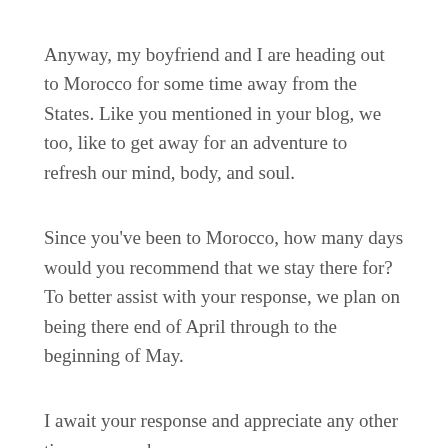Anyway, my boyfriend and I are heading out to Morocco for some time away from the States. Like you mentioned in your blog, we too, like to get away for an adventure to refresh our mind, body, and soul.
Since you've been to Morocco, how many days would you recommend that we stay there for? To better assist with your response, we plan on being there end of April through to the beginning of May.
I await your response and appreciate any other tips you may have.